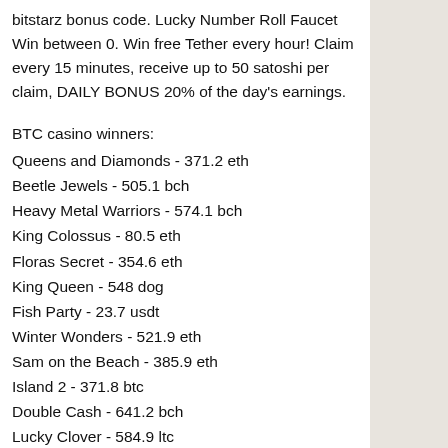bitstarz bonus code. Lucky Number Roll Faucet Win between 0. Win free Tether every hour! Claim every 15 minutes, receive up to 50 satoshi per claim, DAILY BONUS 20% of the day's earnings.
BTC casino winners:
Queens and Diamonds - 371.2 eth
Beetle Jewels - 505.1 bch
Heavy Metal Warriors - 574.1 bch
King Colossus - 80.5 eth
Floras Secret - 354.6 eth
King Queen - 548 dog
Fish Party - 23.7 usdt
Winter Wonders - 521.9 eth
Sam on the Beach - 385.9 eth
Island 2 - 371.8 btc
Double Cash - 641.2 bch
Lucky Clover - 584.9 ltc
Cold Cash - 270.2 bch
Hitman - 2.6 eth
Babbirds lands - 400.0 btc